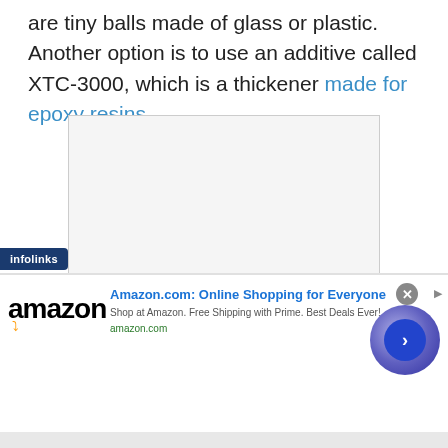are tiny balls made of glass or plastic. Another option is to use an additive called XTC-3000, which is a thickener made for epoxy resins.
[Figure (other): Empty white/light gray image placeholder with a thin gray border]
infolinks
Amazon.com: Online Shopping for Everyone
Shop at Amazon. Free Shipping with Prime. Best Deals Ever!
amazon.com